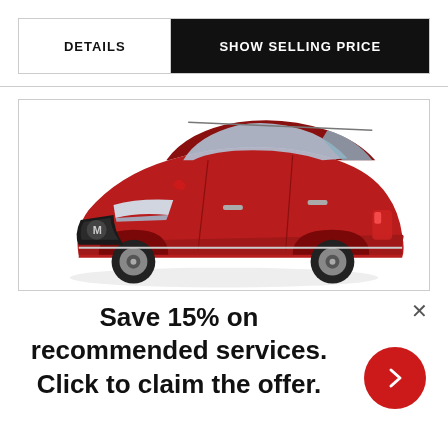DETAILS
SHOW SELLING PRICE
[Figure (photo): Red Mazda CX-5 SUV, front three-quarter view on white background]
Save 15% on recommended services. Click to claim the offer.